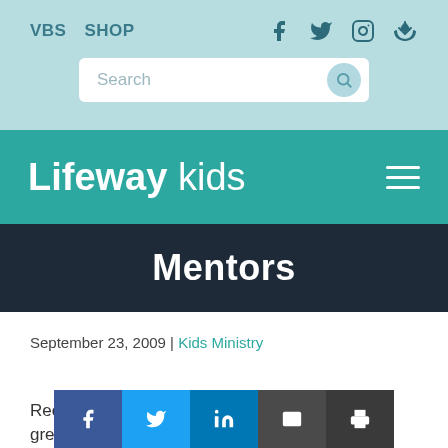VBS  SHOP
[Figure (screenshot): Search bar with magnifying glass button]
[Figure (logo): Lifeway kids logo in white on teal background with hamburger menu]
Mentors
September 23, 2009 | Kids Ministry
Recently I had dinner with a great friend an... on our
[Figure (infographic): Social share bar with Facebook, Twitter, LinkedIn, Email, and Print buttons]